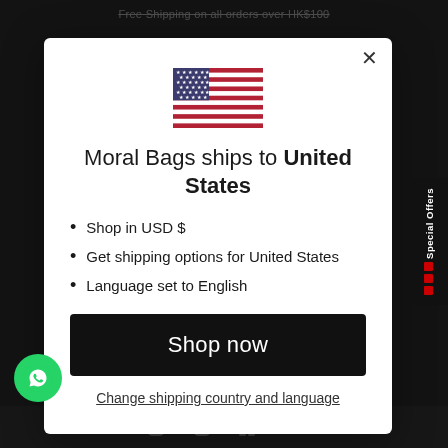Free Shipping on all orders over HK$100
[Figure (illustration): US flag emoji]
Moral Bags ships to United States
Shop in USD $
Get shipping options for United States
Language set to English
Shop now
Change shipping country and language